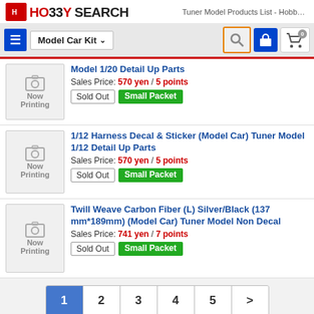HO33Y SEARCH — Tuner Model Products List - HobbySh...
[Figure (screenshot): Navigation bar with Model Car Kit dropdown and search/lock/cart icons]
Model 1/20 Detail Up Parts
Sales Price: 570 yen / 5 points
Sold Out | Small Packet
1/12 Harness Decal & Sticker (Model Car) Tuner Model 1/12 Detail Up Parts
Sales Price: 570 yen / 5 points
Sold Out | Small Packet
Twill Weave Carbon Fiber (L) Silver/Black (137 mm*189mm) (Model Car) Tuner Model Non Decal
Sales Price: 741 yen / 7 points
Sold Out | Small Packet
1  2  3  4  5  >
212 Items
(Show 1 - 40)
Exclude Sold Out